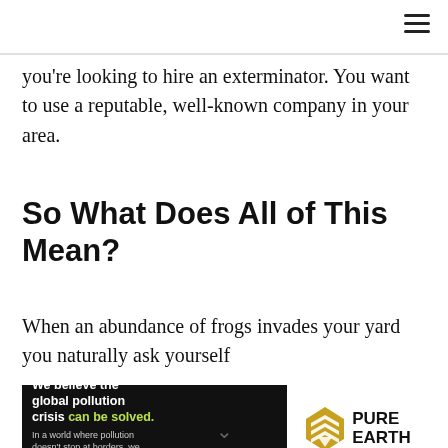you're looking to hire an exterminator. You want to use a reputable, well-known company in your area.
So What Does All of This Mean?
When an abundance of frogs invades your yard you naturally ask yourself
[Figure (other): Advertisement banner for Pure Earth organization. Black background on left side with white bold text: 'We believe the global pollution crisis can be solved.' (with 'can be solved.' in green/yellow). Right portion shows Pure Earth logo with diamond/chevron icon in gold and text 'PURE EARTH'. Small text reads: 'In a world where pollution doesn't stop at borders, we can all be part of the solution.' with 'JOIN US.' in yellow.]